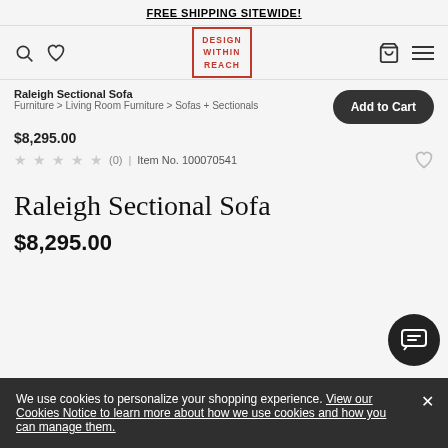FREE SHIPPING SITEWIDE!
[Figure (logo): Design Within Reach logo — red rectangle border with white interior text reading DESIGN WITHIN REACH in red letters]
Raleigh Sectional Sofa
Furniture > Living Room Furniture > Sofas + Sectionals
$8,295.00
★ ★ ★ ★ ★ (0) | Item No. 100070541
Raleigh Sectional Sofa
$8,295.00
We use cookies to personalize your shopping experience. View our Cookies Notice to learn more about how we use cookies and how you can manage them.